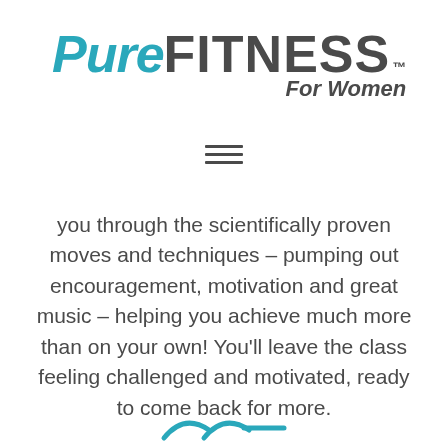[Figure (logo): PureFITNESS For Women logo — 'Pure' in teal italic, 'FITNESS' in dark bold, with trademark symbol, 'For Women' in dark italic below]
[Figure (other): Hamburger menu icon — three horizontal lines]
you through the scientifically proven moves and techniques – pumping out encouragement, motivation and great music – helping you achieve much more than on your own! You'll leave the class feeling challenged and motivated, ready to come back for more.
[Figure (illustration): Partial decorative graphic at bottom — teal colored swoosh/arrow shapes]